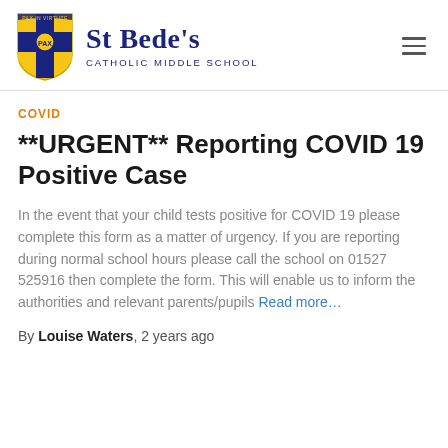St Bede's Catholic Middle School
COVID
**URGENT** Reporting COVID 19 Positive Case
In the event that your child tests positive for COVID 19 please complete this form as a matter of urgency. If you are reporting during normal school hours please call the school on 01527 525916 then complete the form. This will enable us to inform the authorities and relevant parents/pupils Read more...
By Louise Waters, 2 years ago